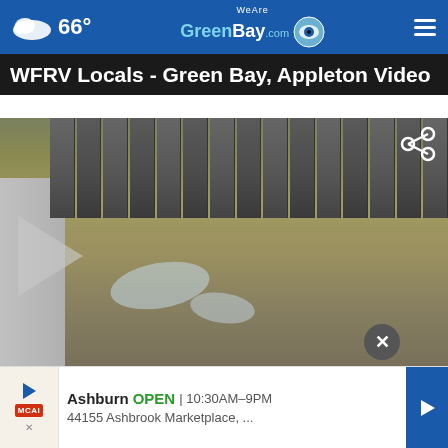66° WeAreGreenBay.com
WFRV Locals - Green Bay, Appleton Video
[Figure (screenshot): Outdoor photo showing a wooden fence and ground with dormant grass and patches of ice/snow, with a play button overlay indicating a video. A share icon appears in the top right of the video area, and a close (X) button at the bottom.]
Ashburn OPEN | 10:30AM–9PM  44155 Ashbrook Marketplace, ...